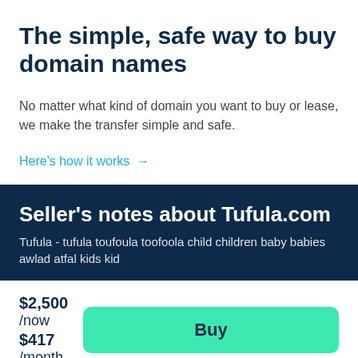The simple, safe way to buy domain names
No matter what kind of domain you want to buy or lease, we make the transfer simple and safe.
Here's how it works →
Seller's notes about Tufula.com
Tufula - tufula toufoula toofoola child children baby babies awlad atfal kids kid
$2,500 /now
$417 /month
Buy